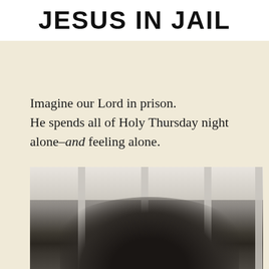JESUS IN JAIL
Imagine our Lord in prison. He spends all of Holy Thursday night alone–and feeling alone.
[Figure (photo): Black and white photograph of a crown of thorns visible behind jail/prison bars, set against a light background. The bars are vertical and the crown appears dark and silhouetted in the lower portion of the image.]